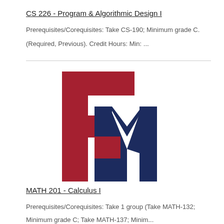CS 226 - Program & Algorithmic Design I
Prerequisites/Corequisites: Take CS-190; Minimum grade C.
(Required, Previous). Credit Hours: Min: ...
[Figure (logo): Francis Marion University FM interlocking letter logo in red and navy blue]
MATH 201 - Calculus I
Prerequisites/Corequisites: Take 1 group (Take MATH-132; Minimum grade C; Take MATH-137; Minim...